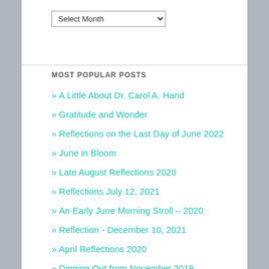Select Month
MOST POPULAR POSTS
» A Little About Dr. Carol A. Hand
» Gratitude and Wonder
» Reflections on the Last Day of June 2022
» June in Bloom
» Late August Reflections 2020
» Reflections July 12, 2021
» An Early June Morning Stroll – 2020
» Reflection - December 10, 2021
» April Reflections 2020
» Digging Out from November 2019